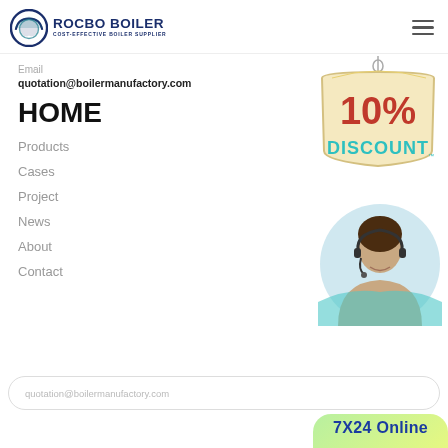[Figure (logo): ROCBO BOILER logo with circular icon and text 'COST-EFFECTIVE BOILER SUPPLIER']
Email
quotation@boilermanufactory.com
HOME
Products
Cases
Project
News
About
Contact
[Figure (illustration): 10% DISCOUNT hanging sign badge]
[Figure (photo): Customer service representative with headset]
quotation@boilermanufactory.com
7X24 Online